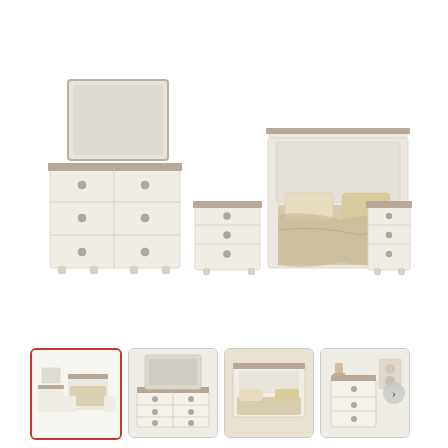[Figure (photo): Main product image of a white and brown wood bedroom furniture set including a queen bed with beige bedding, dresser with mirror, two nightstands, on a white background.]
[Figure (photo): Thumbnail 1 (selected): Full bedroom set overview showing bed, dresser, mirror, and nightstands.]
[Figure (photo): Thumbnail 2: Close-up of white dresser with brown top and mirror.]
[Figure (photo): Thumbnail 3: Close-up of the bed headboard with beige bedding.]
[Figure (photo): Thumbnail 4: Close-up of nightstand with decorative items on top.]